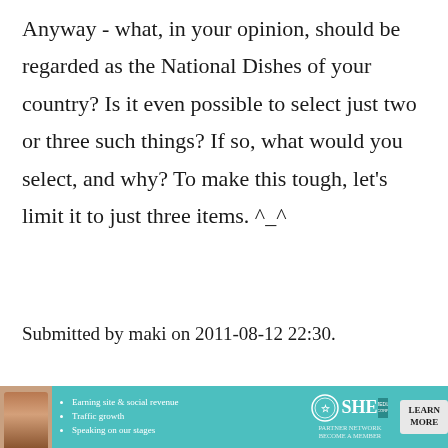Anyway - what, in your opinion, should be regarded as the National Dishes of your country? Is it even possible to select just two or three such things? If so, what would you select, and why? To make this tough, let's limit it to just three items. ^_^
Submitted by maki on 2011-08-12 22:30.
Filed under:  essays yohshoku
[Figure (other): Advertisement banner for SHE Partner Network with photo of a woman, bullet points about earning site & social revenue, traffic growth, speaking on our stages, SHE logo, and LEARN MORE button]